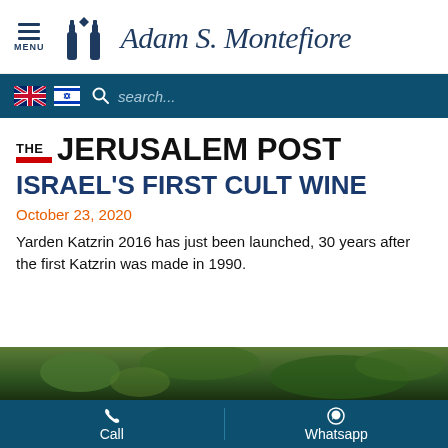Adam S. Montefiore
[Figure (screenshot): Search bar with UK and Israel flags and search field on dark teal background]
[Figure (logo): The Jerusalem Post logo with THE in small text above a red bar and JERUSALEM POST in large bold text]
ISRAEL'S FIRST CULT WINE
October 23, 2020
Yarden Katzrin 2016 has just been launched, 30 years after the first Katzrin was made in 1990.
[Figure (photo): Partial photo of green vineyard leaves, bottom of page]
Call   Whatsapp